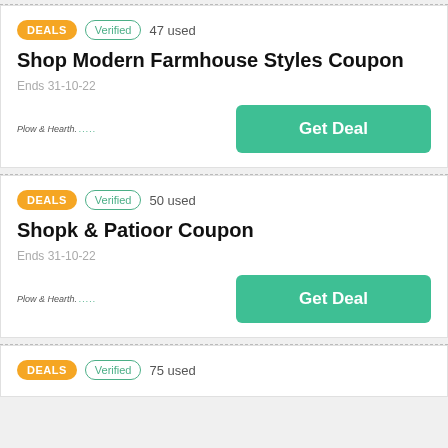DEALS  Verified  47 used
Shop Modern Farmhouse Styles Coupon
Ends 31-10-22
Plow & Hearth   Get Deal
DEALS  Verified  50 used
Shopk & Patioor Coupon
Ends 31-10-22
Plow & Hearth   Get Deal
DEALS  Verified  75 used